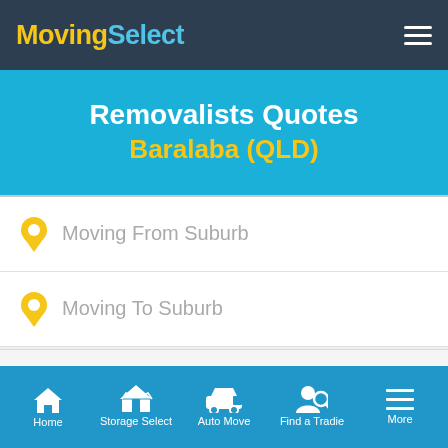MovingSelect
Removalists Quotes Baralaba (QLD)
Moving From Suburb
Moving To Suburb
Home  Storage Select  Auto Move  Find a Tradie  More